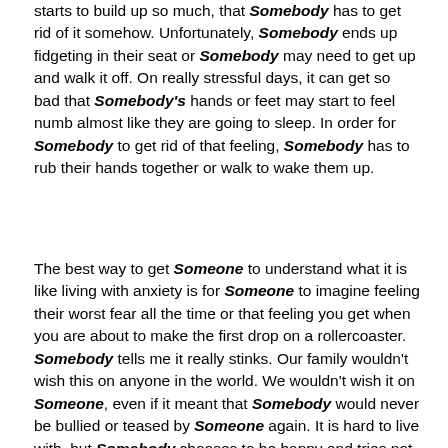starts to build up so much, that Somebody has to get rid of it somehow. Unfortunately, Somebody ends up fidgeting in their seat or Somebody may need to get up and walk it off. On really stressful days, it can get so bad that Somebody's hands or feet may start to feel numb almost like they are going to sleep. In order for Somebody to get rid of that feeling, Somebody has to rub their hands together or walk to wake them up.
The best way to get Someone to understand what it is like living with anxiety is for Someone to imagine feeling their worst fear all the time or that feeling you get when you are about to make the first drop on a rollercoaster. Somebody tells me it really stinks. Our family wouldn't wish this on anyone in the world. We wouldn't wish it on Someone, even if it meant that Somebody would never be bullied or teased by Someone again. It is hard to live with, but Somebody chooses to be happy and tries not to dwell on it.